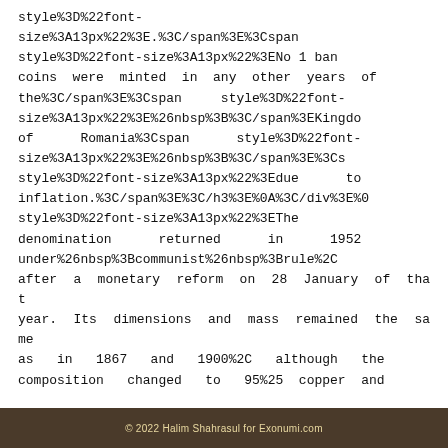style%3D%22font-size%3A13px%22%3E.%3C/span%3E%3Cspan style%3D%22font-size%3A13px%22%3ENo 1 ban coins were minted in any other years of the%3C/span%3E%3Cspan  style%3D%22font-size%3A13px%22%3E%26nbsp%3B%3C/span%3EKingdo of  Romania%3Cspan  style%3D%22font-size%3A13px%22%3E%26nbsp%3B%3C/span%3E%3Cs style%3D%22font-size%3A13px%22%3Edue  to inflation.%3C/span%3E%3C/h3%3E%0A%3C/div%3E%0 style%3D%22font-size%3A13px%22%3EThe denomination  returned  in  1952 under%26nbsp%3Bcommunist%26nbsp%3Brule%2C after a monetary reform on 28 January of that year. Its dimensions and mass remained the same as in 1867 and 1900%2C although the composition changed to 95%25 copper and
© 2022 Halim Shahrasul for Exonumi.com